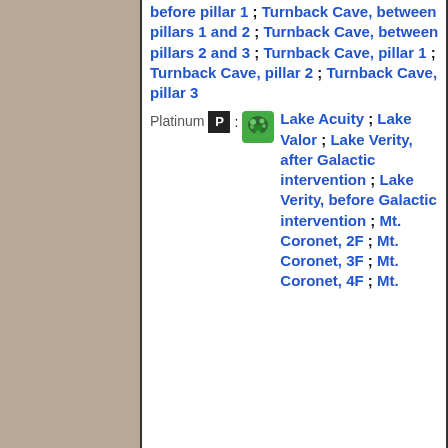before pillar 1 ; Turnback Cave, between pillars 1 and 2 ; Turnback Cave, between pillars 2 and 3 ; Turnback Cave, pillar 1 ; Turnback Cave, pillar 2 ; Turnback Cave, pillar 3
Platinum [P]: Lake Acuity ; Lake Valor ; Lake Verity, after Galactic intervention ; Lake Verity, before Galactic intervention ; Mt. Coronet, 2F ; Mt. Coronet, 3F ; Mt. Coronet, 4F ; Mt.